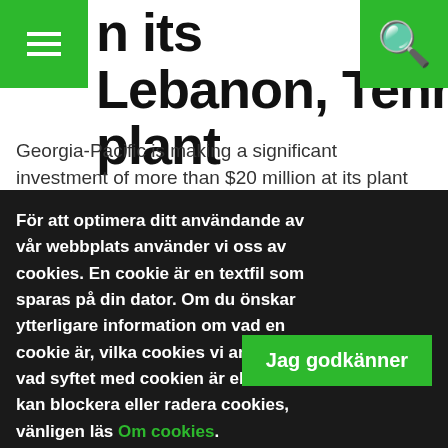n its Lebanon, Tennessee plant
Georgia-Pacific is making a significant investment of more than $20 million at its plant in...
För att optimera ditt användande av vår webbplats använder vi oss av cookies. En cookie är en textfil som sparas på din dator. Om du önskar ytterligare information om vad en cookie är, vilka cookies vi använder, vad syftet med cookien är eller hur du kan blockera eller radera cookies, vänligen läs Om cookies.
Jag godkänner